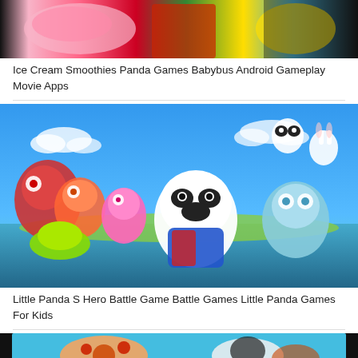[Figure (photo): Top portion of an animated game screenshot showing ice cream/smoothies with panda characters on dark background]
Ice Cream Smoothies Panda Games Babybus Android Gameplay Movie Apps
[Figure (photo): Animated game image showing cartoon panda and animal superhero characters on blue sky and sea background - Little Panda S Hero Battle Game]
Little Panda S Hero Battle Game Battle Games Little Panda Games For Kids
[Figure (photo): Bottom portion of another animated game screenshot showing food items on light blue background]